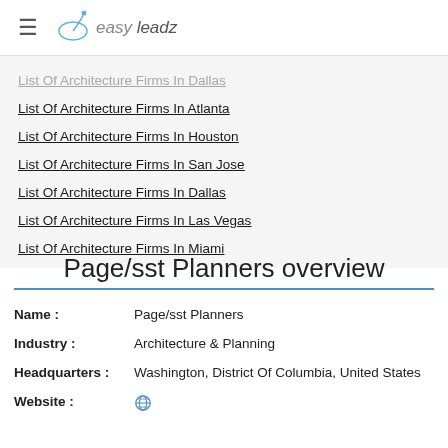easy leadz
List Of Architecture Firms In Dallas (partially visible, faded)
List Of Architecture Firms In Atlanta
List Of Architecture Firms In Houston
List Of Architecture Firms In San Jose
List Of Architecture Firms In Dallas
List Of Architecture Firms In Las Vegas
List Of Architecture Firms In Miami
Page/sst Planners overview
| Field | Value |
| --- | --- |
| Name : | Page/sst Planners |
| Industry : | Architecture & Planning |
| Headquarters : | Washington, District Of Columbia, United States |
| Website : | 🌐 |